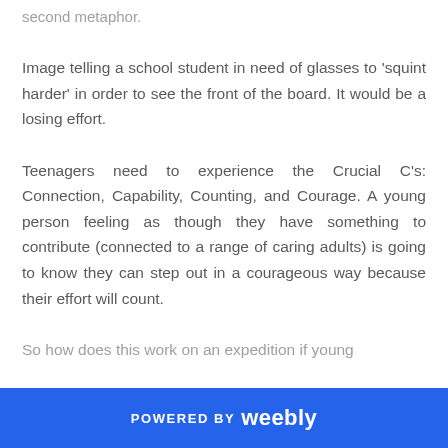second metaphor.
Image telling a school student in need of glasses to 'squint harder' in order to see the front of the board. It would be a losing effort.
Teenagers need to experience the Crucial C's: Connection, Capability, Counting, and Courage. A young person feeling as though they have something to contribute (connected to a range of caring adults) is going to know they can step out in a courageous way because their effort will count.
So how does this work on an expedition if young
POWERED BY weebly